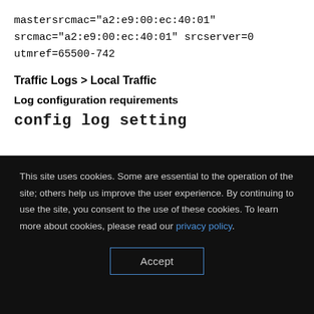mastersrcmac="a2:e9:00:ec:40:01" srcmac="a2:e9:00:ec:40:01" srcserver=0 utmref=65500-742
Traffic Logs > Local Traffic
Log configuration requirements
config log setting
This site uses cookies. Some are essential to the operation of the site; others help us improve the user experience. By continuing to use the site, you consent to the use of these cookies. To learn more about cookies, please read our privacy policy.
Accept